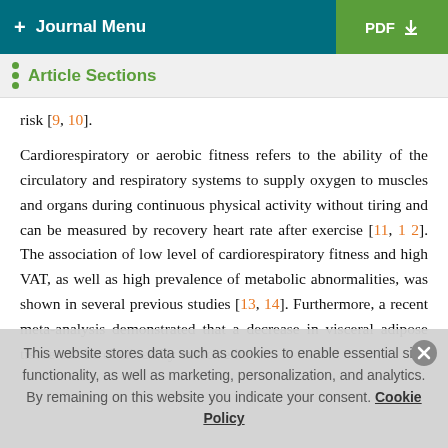+ Journal Menu   PDF ↓
Article Sections
risk [9, 10].
Cardiorespiratory or aerobic fitness refers to the ability of the circulatory and respiratory systems to supply oxygen to muscles and organs during continuous physical activity without tiring and can be measured by recovery heart rate after exercise [11, 12]. The association of low level of cardiorespiratory fitness and high VAT, as well as high prevalence of metabolic abnormalities, was shown in several previous studies [13, 14]. Furthermore, a recent meta-analysis demonstrated that a decrease in visceral adipose tissue can be obtained by exercise in
This website stores data such as cookies to enable essential site functionality, as well as marketing, personalization, and analytics. By remaining on this website you indicate your consent. Cookie Policy